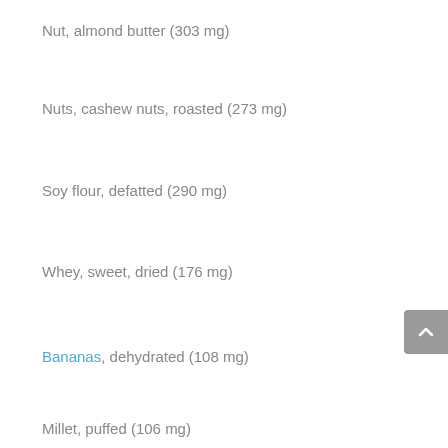Nut, almond butter (303 mg)
Nuts, cashew nuts, roasted (273 mg)
Soy flour, defatted (290 mg)
Whey, sweet, dried (176 mg)
Bananas, dehydrated (108 mg)
Millet, puffed (106 mg)